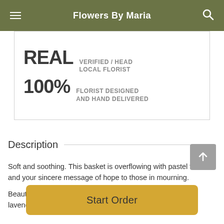Flowers By Maria
[Figure (infographic): Card box showing 'REAL VERIFIED LOCAL FLORIST' and '100% FLORIST DESIGNED AND HAND DELIVERED']
Description
Soft and soothing. This basket is overflowing with pastel flowers and your sincere message of hope to those in mourning.

Beautiful flowers such as pink carnations and alstroemeria, lavender button and daisy spray chrysanthemums along
Start Order